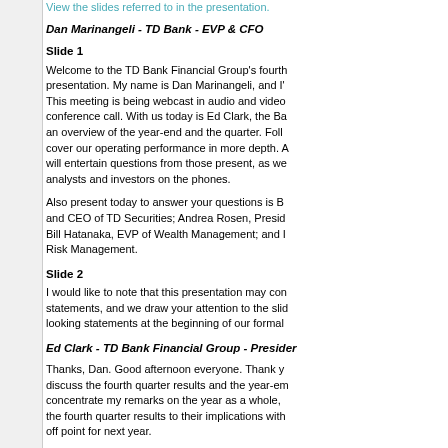View the slides referred to in the presentation.
Dan Marinangeli - TD Bank - EVP & CFO
Slide 1
Welcome to the TD Bank Financial Group's fourth presentation. My name is Dan Marinangeli, and I' This meeting is being webcast in audio and video conference call. With us today is Ed Clark, the Ba an overview of the year-end and the quarter. Foll cover our operating performance in more depth. A will entertain questions from those present, as we analysts and investors on the phones.
Also present today to answer your questions is B and CEO of TD Securities; Andrea Rosen, Presid Bill Hatanaka, EVP of Wealth Management; and I Risk Management.
Slide 2
I would like to note that this presentation may con statements, and we draw your attention to the slid looking statements at the beginning of our formal
Ed Clark - TD Bank Financial Group - Presider
Thanks, Dan. Good afternoon everyone. Thank y discuss the fourth quarter results and the year-em concentrate my remarks on the year as a whole, the fourth quarter results to their implications with off point for next year.